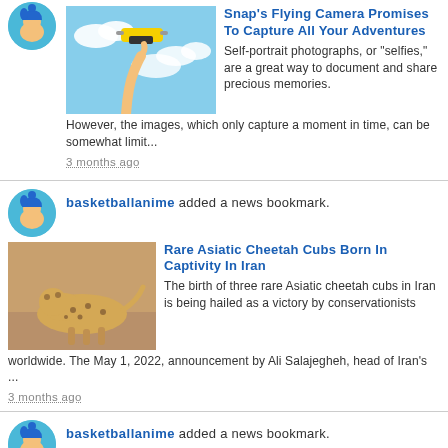[Figure (screenshot): Social media news feed entry 1: Snap's Flying Camera article with avatar, thumbnail of hand releasing drone in sky, article text]
Snap's Flying Camera Promises To Capture All Your Adventures
Self-portrait photographs, or "selfies," are a great way to document and share precious memories. However, the images, which only capture a moment in time, can be somewhat limit...
3 months ago
basketballanime added a news bookmark.
Rare Asiatic Cheetah Cubs Born In Captivity In Iran
The birth of three rare Asiatic cheetah cubs in Iran is being hailed as a victory by conservationists worldwide. The May 1, 2022, announcement by Ali Salajegheh, head of Iran's ...
3 months ago
basketballanime added a news bookmark.
Do Tree Trunks Make Music? You Betcha!
Thought the rings on tree trunks are good for just figuring out the age of the